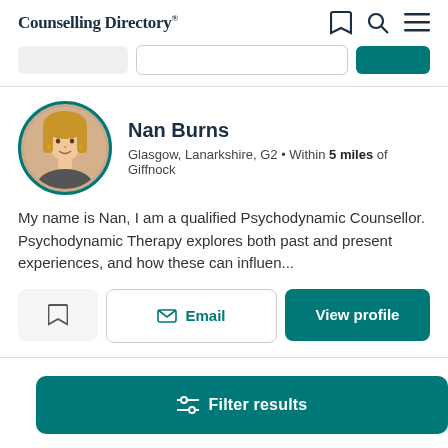Counselling Directory
[Figure (screenshot): Partially visible search/filter bar with three buttons at the top]
Nan Burns
Glasgow, Lanarkshire, G2 • Within 5 miles of Giffnock
My name is Nan, I am a qualified Psychodynamic Counsellor. Psychodynamic Therapy explores both past and present experiences, and how these can influen...
Email  View profile
Filter results